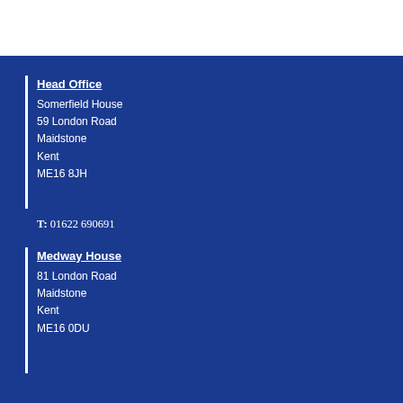Head Office
Somerfield House
59 London Road
Maidstone
Kent
ME16 8JH
T: 01622 690691
Medway House
81 London Road
Maidstone
Kent
ME16 0DU